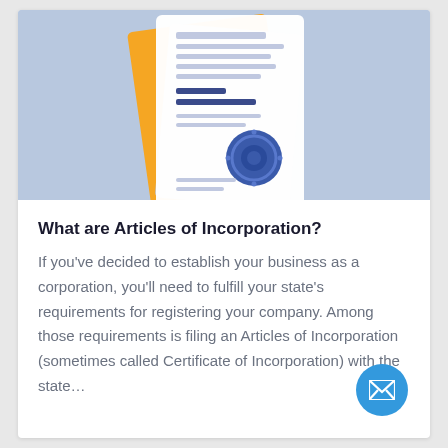[Figure (illustration): Illustration of articles of incorporation documents with a blue wax seal on a light blue background, with yellow and grey paper stacks behind the main white document]
What are Articles of Incorporation?
If you’ve decided to establish your business as a corporation, you’ll need to fulfill your state’s requirements for registering your company. Among those requirements is filing an Articles of Incorporation (sometimes called Certificate of Incorporation) with the state…